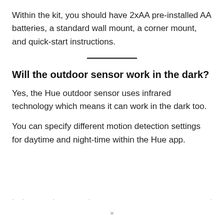Within the kit, you should have 2xAA pre-installed AA batteries, a standard wall mount, a corner mount, and quick-start instructions.
Will the outdoor sensor work in the dark?
Yes, the Hue outdoor sensor uses infrared technology which means it can work in the dark too.
You can specify different motion detection settings for daytime and night-time within the Hue app.